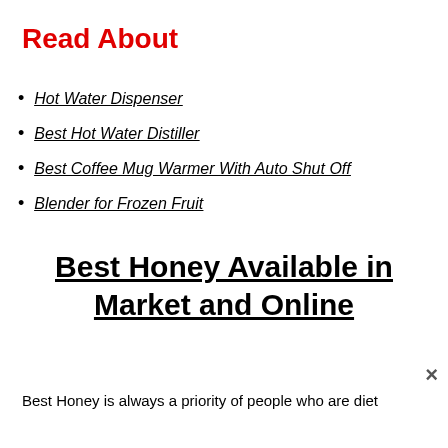Read About
Hot Water Dispenser
Best Hot Water Distiller
Best Coffee Mug Warmer With Auto Shut Off
Blender for Frozen Fruit
Best Honey Available in Market and Online
Best Honey is always a priority of people who are diet